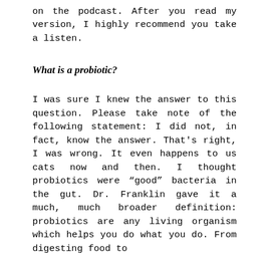on the podcast. After you read my version, I highly recommend you take a listen.
What is a probiotic?
I was sure I knew the answer to this question. Please take note of the following statement: I did not, in fact, know the answer. That's right, I was wrong. It even happens to us cats now and then. I thought probiotics were “good” bacteria in the gut. Dr. Franklin gave it a much, much broader definition: probiotics are any living organism which helps you do what you do. From digesting food to